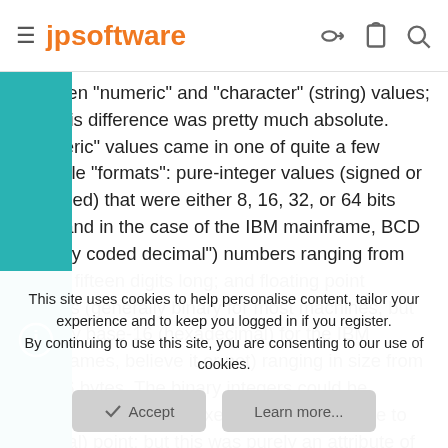jpsoftware
between "numeric" and "character" (string) values; and this difference was pretty much absolute. "Numeric" values came in one of quite a few possible "formats": pure-integer values (signed or unsigned) that were either 8, 16, 32, or 64 bits long; and in the case of the IBM mainframe, BCD ("binary coded decimal") numbers ranging from one to fifteen digits long; and floating point formats (generally binary for most machines, but actually base-16 (hexadecimal) for the IBM mainframes, believe it or not) ranging in size from 4 to 16 bytes. The binary integers could be considered to have a fixed binary (as oppose to decimal) point; but this was purely an attribute of the imagination of the programmer. For the IBM mainframe, BCD (again, binary-coded decimal) could be considered to have a fixed number of decimal (of course) places, and the assembler
This site uses cookies to help personalise content, tailor your experience and to keep you logged in if you register.
By continuing to use this site, you are consenting to our use of cookies.